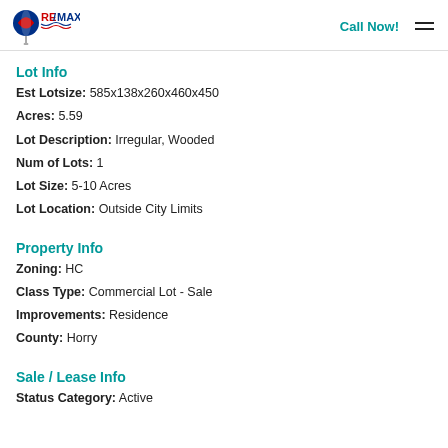RE/MAX | Call Now!
Lot Info
Est Lotsize: 585x138x260x460x450
Acres: 5.59
Lot Description: Irregular, Wooded
Num of Lots: 1
Lot Size: 5-10 Acres
Lot Location: Outside City Limits
Property Info
Zoning: HC
Class Type: Commercial Lot - Sale
Improvements: Residence
County: Horry
Sale / Lease Info
Status Category: Active